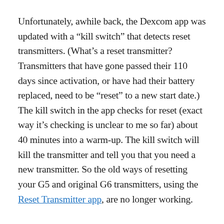Unfortunately, awhile back, the Dexcom app was updated with a “kill switch” that detects reset transmitters. (What’s a reset transmitter? Transmitters that have gone passed their 110 days since activation, or have had their battery replaced, need to be “reset” to a new start date.) The kill switch in the app checks for reset (exact way it’s checking is unclear to me so far) about 40 minutes into a warm-up. The kill switch will kill the transmitter and tell you that you need a new transmitter. So the old ways of resetting your G5 and original G6 transmitters, using the Reset Transmitter app, are no longer working.